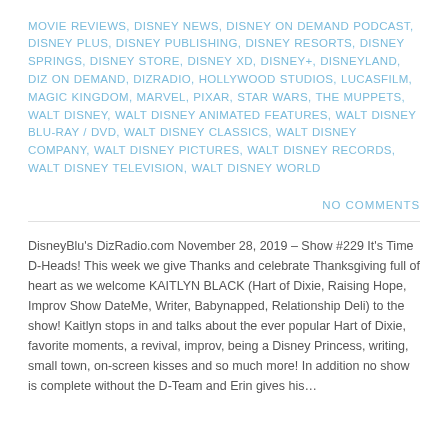MOVIE REVIEWS, DISNEY NEWS, DISNEY ON DEMAND PODCAST, DISNEY PLUS, DISNEY PUBLISHING, DISNEY RESORTS, DISNEY SPRINGS, DISNEY STORE, DISNEY XD, DISNEY+, DISNEYLAND, DIZ ON DEMAND, DIZRADIO, HOLLYWOOD STUDIOS, LUCASFILM, MAGIC KINGDOM, MARVEL, PIXAR, STAR WARS, THE MUPPETS, WALT DISNEY, WALT DISNEY ANIMATED FEATURES, WALT DISNEY BLU-RAY / DVD, WALT DISNEY CLASSICS, WALT DISNEY COMPANY, WALT DISNEY PICTURES, WALT DISNEY RECORDS, WALT DISNEY TELEVISION, WALT DISNEY WORLD
NO COMMENTS
DisneyBlu's DizRadio.com November 28, 2019 – Show #229 It's Time D-Heads! This week we give Thanks and celebrate Thanksgiving full of heart as we welcome KAITLYN BLACK (Hart of Dixie, Raising Hope, Improv Show DateMe, Writer, Babynapped, Relationship Deli) to the show! Kaitlyn stops in and talks about the ever popular Hart of Dixie, favorite moments, a revival, improv, being a Disney Princess, writing, small town, on-screen kisses and so much more! In addition no show is complete without the D-Team and Erin gives his...